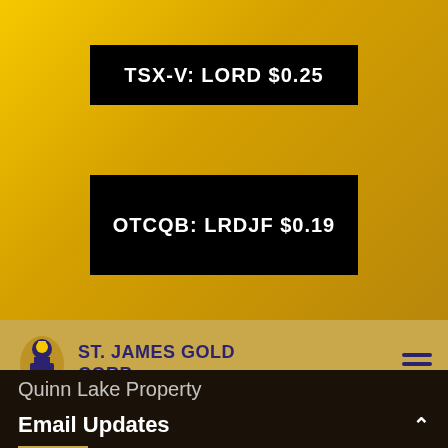TSX-V: LORD $0.25
OTCQB: LRDJF $0.19
[Figure (logo): St. James Gold Corp. logo with knight chess piece icon and company name in dark blue]
Quinn Lake Property
Email Updates
Get the latest news from St. James Gold Corp. directly to your inbox